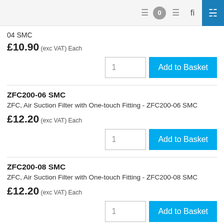0
04 SMC
£10.90 (exc VAT) Each
1  Add to Basket
ZFC200-06 SMC
ZFC, Air Suction Filter with One-touch Fitting - ZFC200-06 SMC
£12.20 (exc VAT) Each
1  Add to Basket
ZFC200-08 SMC
ZFC, Air Suction Filter with One-touch Fitting - ZFC200-08 SMC
£12.20 (exc VAT) Each
1  Add to Basket